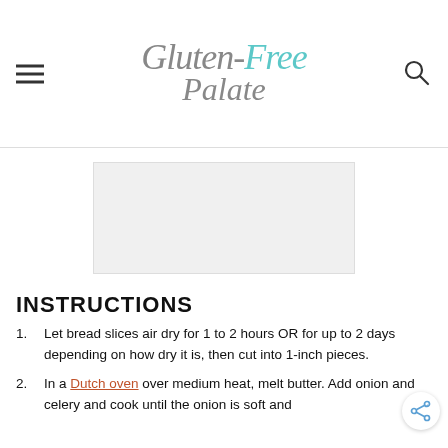Gluten-Free Palate
[Figure (other): Advertisement placeholder box]
INSTRUCTIONS
Let bread slices air dry for 1 to 2 hours OR for up to 2 days depending on how dry it is, then cut into 1-inch pieces.
In a Dutch oven over medium heat, melt butter. Add onion and celery and cook until the onion is soft and